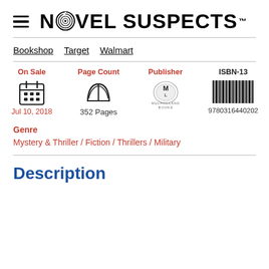[Figure (logo): Novel Suspects logo with fingerprint replacing the O in NOVEL, hamburger menu icon on left, TM superscript]
Bookshop   Target   Walmart
| On Sale | Page Count | Publisher | ISBN-13 |
| --- | --- | --- | --- |
| Jul 10, 2018 | 352 Pages | Mulholland Books | 9780316440202 |
Genre
Mystery & Thriller / Fiction / Thrillers / Military
Description